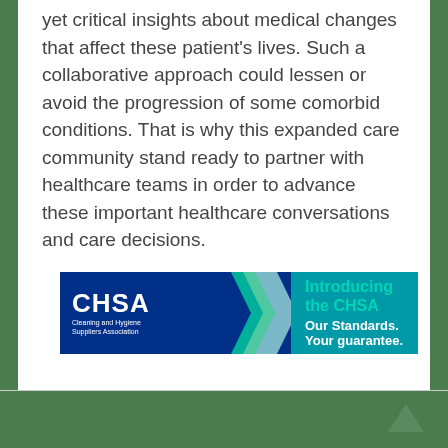yet critical insights about medical changes that affect these patient's lives. Such a collaborative approach could lessen or avoid the progression of some comorbid conditions. That is why this expanded care community stand ready to partner with healthcare teams in order to advance these important healthcare conversations and care decisions.
[Figure (logo): CHSA (Cleaning and Hygiene Suppliers Association) advertisement banner. Blue background on left with CHSA logo and arrows graphic. Teal/cyan right side with text 'Introducing the CHSA' and 'Our Standards. Your guarantee.']
^